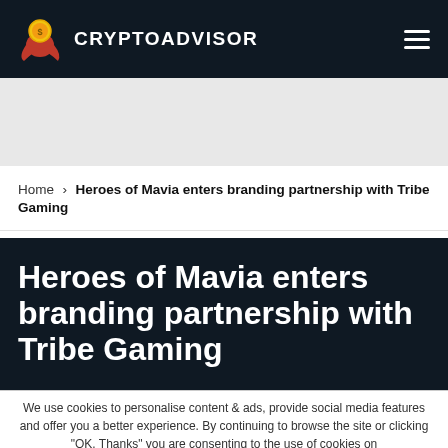CRYPTOADVISOR
[Figure (logo): CryptoAdvisor logo with rocket and coin character icon, white text CRYPTOADVISOR on dark navy background]
Home › Heroes of Mavia enters branding partnership with Tribe Gaming
Heroes of Mavia enters branding partnership with Tribe Gaming
We use cookies to personalise content & ads, provide social media features and offer you a better experience. By continuing to browse the site or clicking "OK, Thanks" you are consenting to the use of cookies on